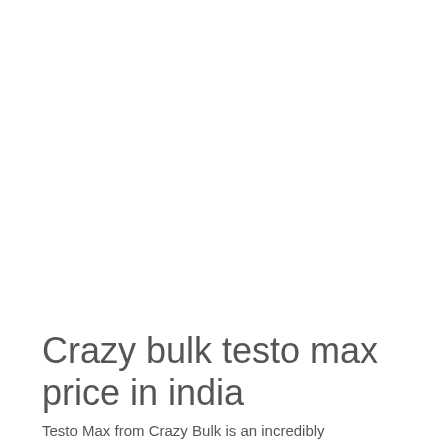Crazy bulk testo max price in india
Testo Max from Crazy Bulk is an incredibly